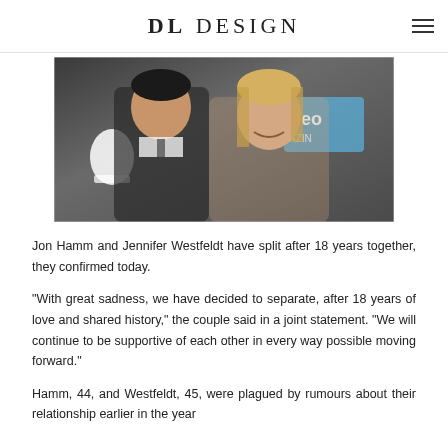DL DESIGN
[Figure (photo): Jon Hamm and Jennifer Westfeldt posing together at an event with NBC peacock logo and People Magazine banner visible in the background]
Jon Hamm and Jennifer Westfeldt have split after 18 years together, they confirmed today.
"With great sadness, we have decided to separate, after 18 years of love and shared history," the couple said in a joint statement. "We will continue to be supportive of each other in every way possible moving forward."
Hamm, 44, and Westfeldt, 45, were plagued by rumours about their relationship earlier in the year